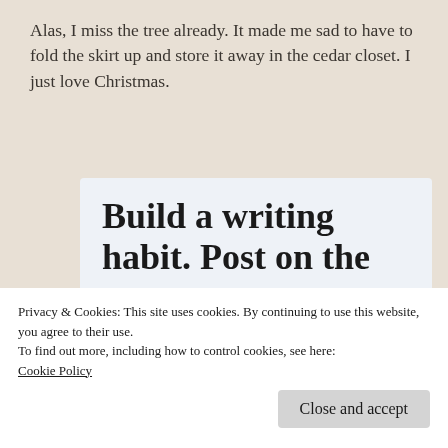Alas, I miss the tree already. It made me sad to have to fold the skirt up and store it away in the cedar closet. I just love Christmas.
[Figure (screenshot): WordPress app advertisement banner with headline 'Build a writing habit. Post on the go.' and a 'GET THE APP' link with WordPress logo icon.]
Privacy & Cookies: This site uses cookies. By continuing to use this website, you agree to their use.
To find out more, including how to control cookies, see here:
Cookie Policy
Close and accept